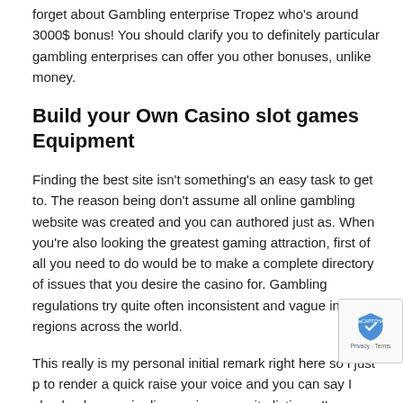forget about Gambling enterprise Tropez who's around 3000$ bonus! You should clarify you to definitely particular gambling enterprises can offer you other bonuses, unlike money.
Build your Own Casino slot games Equipment
Finding the best site isn't something's an easy task to get to. The reason being don't assume all online gambling website was created and you can authored just as. When you're also looking the greatest gaming attraction, first of all you need to do would be to make a complete directory of issues that you desire the casino for. Gambling regulations try quite often inconsistent and vague in some regions across the world.
This really is my personal initial remark right here so i just р to render a quick raise your voice and you can say I absolu pleasure in discovering your site listings. I've become exploring to